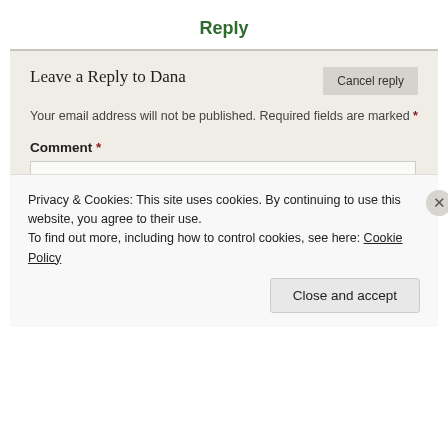Reply
Leave a Reply to Dana
Your email address will not be published. Required fields are marked *
Comment *
Privacy & Cookies: This site uses cookies. By continuing to use this website, you agree to their use.
To find out more, including how to control cookies, see here: Cookie Policy
Close and accept